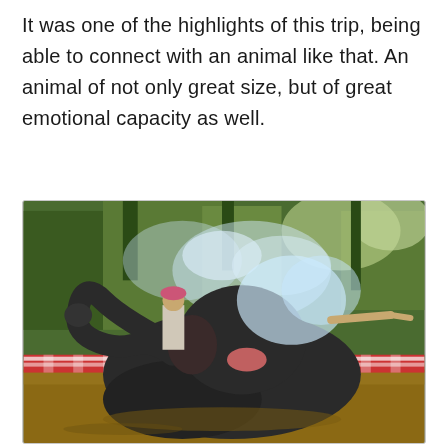It was one of the highlights of this trip, being able to connect with an animal like that. An animal of not only great size, but of great emotional capacity as well.
[Figure (photo): An elephant lying in a shallow muddy pool of water, spraying water with its trunk. A person stands in the background wearing a pink hat and light-colored clothes. Lush green tropical vegetation fills the background. The pool has red and white striped concrete borders.]